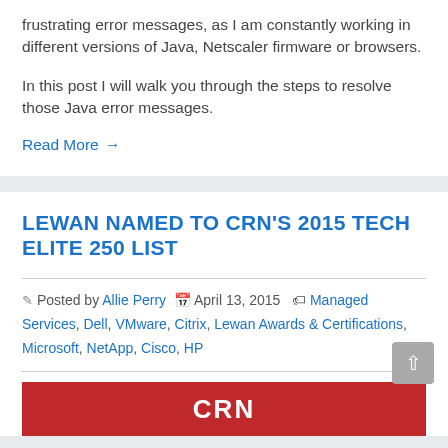frustrating error messages, as I am constantly working in different versions of Java, Netscaler firmware or browsers.
In this post I will walk you through the steps to resolve those Java error messages.
Read More →
LEWAN NAMED TO CRN'S 2015 TECH ELITE 250 LIST
Posted by Allie Perry  April 13, 2015  Managed Services, Dell, VMware, Citrix, Lewan Awards & Certifications, Microsoft, NetApp, Cisco, HP
[Figure (logo): CRN logo on red background strip at bottom]